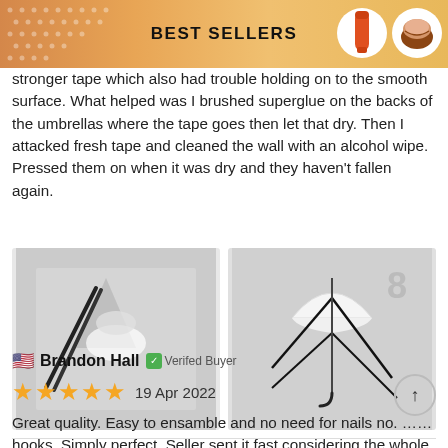BEST SELLERS
stronger tape which also had trouble holding on to the smooth surface. What helped was I brushed superglue on the backs of the umbrellas where the tape goes then let that dry. Then I attacked fresh tape and cleaned the wall with an alcohol wipe. Pressed them on when it was dry and they haven't fallen again.
[Figure (photo): Two photos of small decorative umbrella components showing wire frames and plastic parts on a white surface]
Brandon Hall  Verifed Buyer
19 Apr 2022
Great quality. Easy to ensamble and no need for nails no. ... hooks. Simply perfect. Seller sent it fast considering the whole